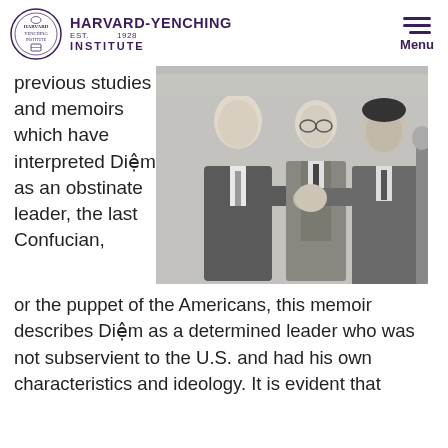HARVARD-YENCHING INSTITUTE | Menu
previous studies and memoirs which have interpreted Diệm as an obstinate leader, the last Confucian, or the puppet of the Americans, this memoir describes Diệm as a determined leader who was not subservient to the U.S. and had his own characteristics and ideology. It is evident that
[Figure (photo): Black and white photograph of three men in suits shaking hands and smiling.]